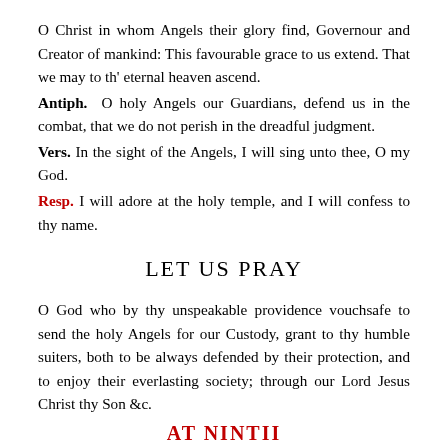O Christ in whom Angels their glory find, Governour and Creator of mankind: This favourable grace to us extend. That we may to th' eternal heaven ascend.
Antiph. O holy Angels our Guardians, defend us in the combat, that we do not perish in the dreadful judgment.
Vers. In the sight of the Angels, I will sing unto thee, O my God.
Resp. I will adore at the holy temple, and I will confess to thy name.
LET US PRAY
O God who by thy unspeakable providence vouchsafe to send the holy Angels for our Custody, grant to thy humble suiters, both to be always defended by their protection, and to enjoy their everlasting society; through our Lord Jesus Christ thy Son &c.
AT NINTII